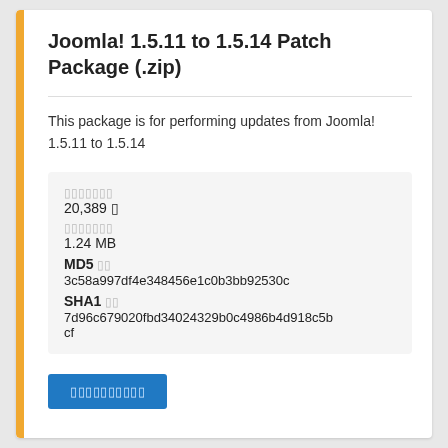Joomla! 1.5.11 to 1.5.14 Patch Package (.zip)
This package is for performing updates from Joomla! 1.5.11 to 1.5.14
20,389 □
1.24 MB
MD5 □□
3c58a997df4e348456e1c0b3bb92530c
SHA1 □□
7d96c679020fbd34024329b0c4986b4d918c5bcf
□□□□□□□□□□